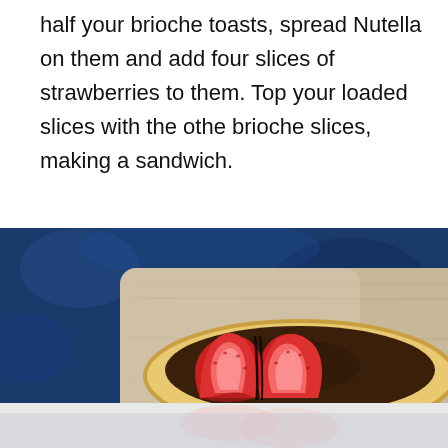half your brioche toasts, spread Nutella on them and add four slices of strawberries to them. Top your loaded slices with the othe brioche slices, making a sandwich.
[Figure (photo): Top-down view of a brioche open-face sandwich with Nutella and sliced strawberries arranged on a wooden cutting board, set against a dark blue textured background. The bottom of the image shows a faded/reflected view of the same scene.]